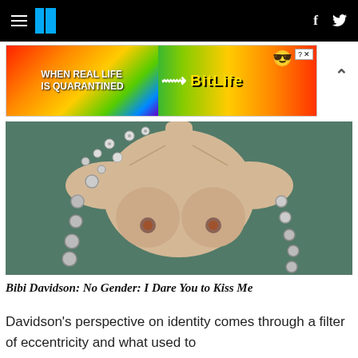HuffPost navigation header with hamburger menu, logo, Facebook and Twitter icons
[Figure (screenshot): Advertisement banner: BitLife app ad with rainbow background, text 'WHEN REAL LIFE IS QUARANTINED', arrow, BitLife logo with emoji character]
[Figure (photo): Painting of a torso figure with buttons decorating the green background, artwork related to Bibi Davidson's exhibition 'No Gender: I Dare You to Kiss Me']
Bibi Davidson: No Gender: I Dare You to Kiss Me
Davidson's perspective on identity comes through a filter of eccentricity and what used to be called bohemianism; the place where lust